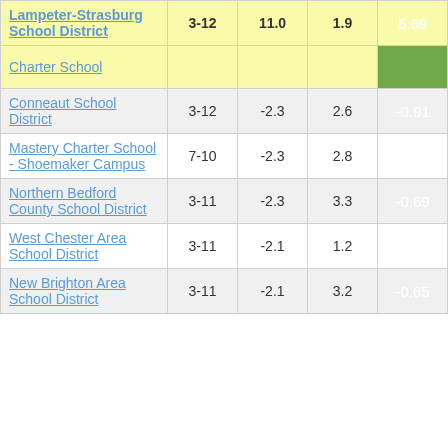| School/District | Grades | Col1 | Col2 | Score |
| --- | --- | --- | --- | --- |
| Lampeter-Strasburg School District | 3-12 | 11.0 | 1.9 | 5.69 |
| Charter School |  |  |  |  |
| Conneaut School District | 3-12 | -2.3 | 2.6 | -0.91 |
| Mastery Charter School - Shoemaker Campus | 7-10 | -2.3 | 2.8 | -0.81 |
| Northern Bedford County School District | 3-11 | -2.3 | 3.3 | -0.69 |
| West Chester Area School District | 3-11 | -2.1 | 1.2 | -1.83 |
| New Brighton Area School District | 3-11 | -2.1 | 3.2 | -0.65 |